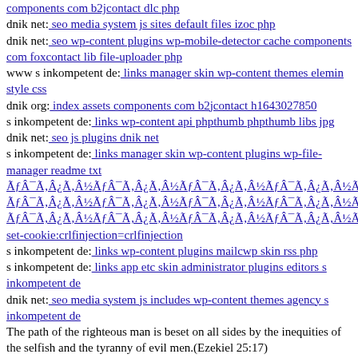components com b2jcontact dlc php
dnik net: seo media system js sites default files izoc php
dnik net: seo wp-content plugins wp-mobile-detector cache components com foxcontact lib file-uploader php
www s inkompetent de: links manager skin wp-content themes elemin style css
dnik org: index assets components com b2jcontact h1643027850
s inkompetent de: links wp-content api phpthumb phpthumb libs jpg
dnik net: seo js plugins dnik net
s inkompetent de: links manager skin wp-content plugins wp-file-manager readme txt
ÃƒÂ¯Ã¢â‚¬Å¡Ã‚Â¸ÃƒÂ¯Ã¢â‚¬Å¡Ã‚Â¹ÃƒÂ¯Ã¢â‚¬Å¡Ã‚Â¸ÃƒÂ¯Ã¢â‚¬Å¡Ã‚Â¹ÃƒÂ¯Ã¢â‚¬Å¡Ã‚Â¸ÃƒÂ¯Ã¢â‚¬Å¡Ã‚Â¹ÃƒÂ¯Ã¢â‚¬Å¡Ã‚Â¸ÃƒÂ¯Ã¢â‚¬Å¡Ã‚Â½ set-cookie:crlfinjection=crlfinjection
s inkompetent de: links wp-content plugins mailcwp skin rss php
s inkompetent de: links app etc skin administrator plugins editors s inkompetent de
dnik net: seo media system js includes wp-content themes agency s inkompetent de
The path of the righteous man is beset on all sides by the inequities of the selfish and the tyranny of evil men.(Ezekiel 25:17)
s inkompetent de: links app etc skin skin components com b2jcontact phpthumb components com b2jcontact style phtml